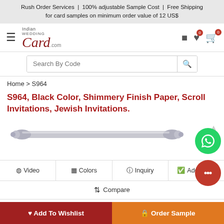Rush Order Services  |  100% adjustable Sample Cost  |  Free Shipping for card samples on minimum order value of 12 US$
[Figure (logo): Indian Wedding Card .com logo with script font]
Search By Code
Home > S964
S964, Black Color, Shimmery Finish Paper, Scroll Invitations, Jewish Invitations.
[Figure (photo): Silver scroll invitation product image]
Video  |  Colors  |  Inquiry  |  Add Order
Compare
Code: S964
Add To Wishlist
Order Sample